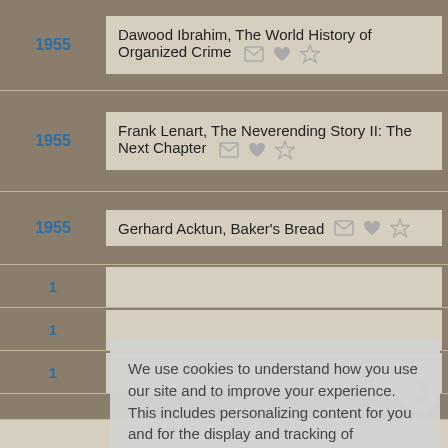1955 — Dawood Ibrahim, The World History of Organized Crime
1955 — Frank Lenart, The Neverending Story II: The Next Chapter
1955 — Gerhard Acktun, Baker's Bread
We use cookies to understand how you use our site and to improve your experience. This includes personalizing content for you and for the display and tracking of advertising. By continuing to use our site, you accept and agree to our use of cookies.  Privacy Policy
Got it!